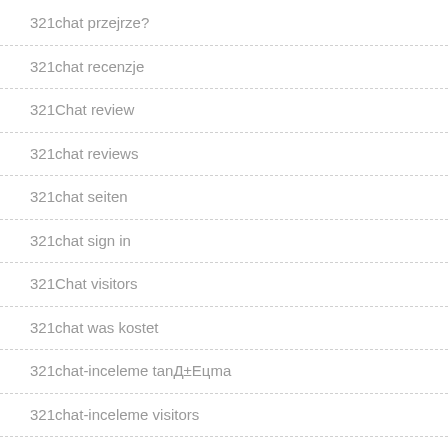321chat przejrze?
321chat recenzje
321Chat review
321chat reviews
321chat seiten
321chat sign in
321Chat visitors
321chat was kostet
321chat-inceleme tanД±Eцma
321chat-inceleme visitors